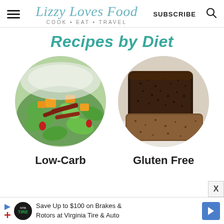Lizzy Loves Food — COOK • EAT • TRAVEL — SUBSCRIBE
Recipes by Diet
[Figure (photo): Circular photo of a green salad with orange squash cubes and grilled meat strips — Low-Carb category]
Low-Carb
[Figure (photo): Circular photo of a dark seeded bread loaf, sliced — Gluten Free category]
Gluten Free
Save Up to $100 on Brakes & Rotors at Virginia Tire & Auto